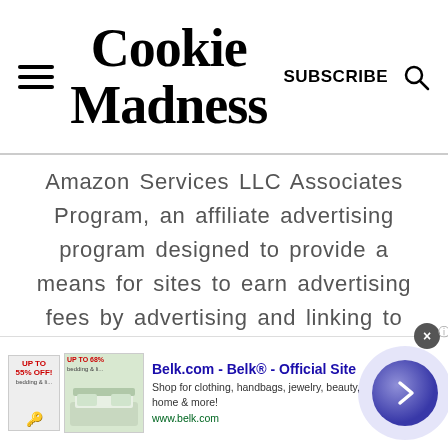Cookie Madness
Amazon Services LLC Associates Program, an affiliate advertising program designed to provide a means for sites to earn advertising fees by advertising and linking to Amazon. © All rights reserved. Do not copy, distribute, or reproduce without permission.
[Figure (infographic): Advertisement banner for Belk.com showing product images, ad title 'Belk.com - Belk® - Official Site', description 'Shop for clothing, handbags, jewelry, beauty, home & more!', URL 'www.belk.com', a close button, and a navigation arrow circle.]